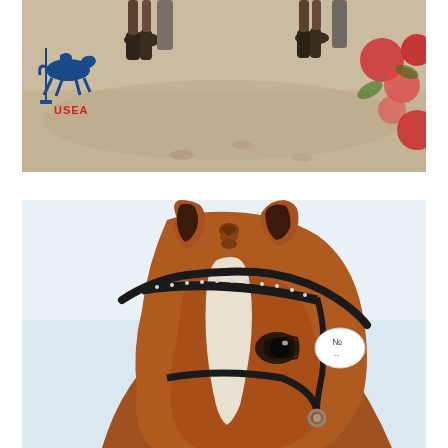[Figure (photo): Top photo: sandy equestrian arena with horse hooves and rider boots visible, red/pink flowers in foreground, USEA logo (blue horse and rider jumping, red and blue text) in upper left corner]
[Figure (photo): Bottom photo: close-up portrait of a chestnut horse wearing a black bridle with rhinestone browband, a white competition number tag, and a small braid between the ears, light sky background]